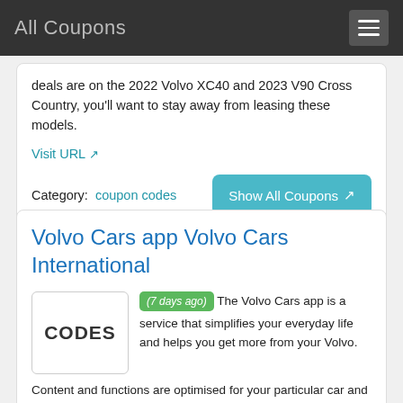All Coupons
deals are on the 2022 Volvo XC40 and 2023 V90 Cross Country, you'll want to stay away from leasing these models.
Visit URL
Category: coupon codes
Show All Coupons
Volvo Cars app Volvo Cars International
(7 days ago) The Volvo Cars app is a service that simplifies your everyday life and helps you get more from your Volvo. Content and functions are optimised for your particular car and services. The app offers information, manuals, support, service booking and for the connected car, car status and remote control of useful vehicle functions.
Visit URL